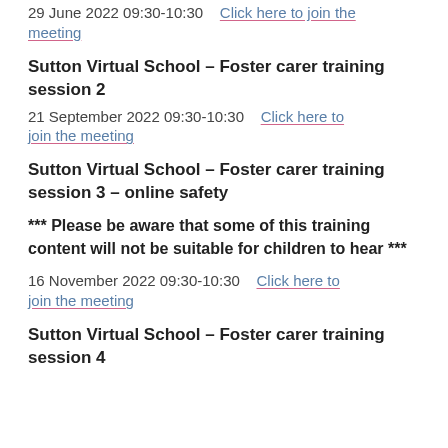29 June 2022 09:30-10:30   Click here to join the meeting
Sutton Virtual School – Foster carer training session 2
21 September 2022 09:30-10:30   Click here to join the meeting
Sutton Virtual School – Foster carer training session 3 – online safety
*** Please be aware that some of this training content will not be suitable for children to hear ***
16 November 2022 09:30-10:30   Click here to join the meeting
Sutton Virtual School – Foster carer training session 4